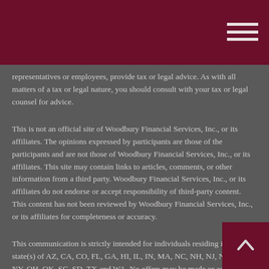representatives or employees, provide tax or legal advice. As with all matters of a tax or legal nature, you should consult with your tax or legal counsel for advice.
This is not an official site of Woodbury Financial Services, Inc., or its affiliates. The opinions expressed by participants are those of the participants and are not those of Woodbury Financial Services, Inc., or its affiliates. This site may contain links to articles, comments, or other information from a third party. Woodbury Financial Services, Inc., or its affiliates do not endorse or accept responsibility of third-party content. This content has not been reviewed by Woodbury Financial Services, Inc., or its affiliates for completeness or accuracy.
This communication is strictly intended for individuals residing in the state(s) of AZ, CA, CO, FL, GA, HI, IL, IN, MA, NC, NH, NJ, NM, NV, NY, OH, OK, SC, SD, TX and WA. No offers may be made or accepted from any resident outside the specific states referenced.